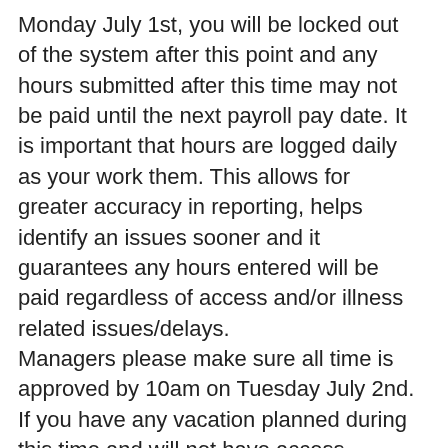Monday July 1st, you will be locked out of the system after this point and any hours submitted after this time may not be paid until the next payroll pay date. It is important that hours are logged daily as your work them. This allows for greater accuracy in reporting, helps identify an issues sooner and it guarantees any hours entered will be paid regardless of access and/or illness related issues/delays.
Managers please make sure all time is approved by 10am on Tuesday July 2nd. If you have any vacation planned during this time and will not have access – please make sure to set up Delegation so your employees can be approved and paid on time.
https://docs.google.com/document/d/1ySYumWHf8Bbg-F9tyIeVBpqdOp-ujZhtifTbQmCQQrw/edit#heading=h.w69v5z1i3637